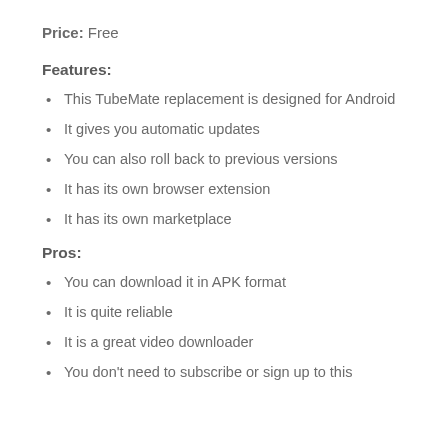Price: Free
Features:
This TubeMate replacement is designed for Android
It gives you automatic updates
You can also roll back to previous versions
It has its own browser extension
It has its own marketplace
Pros:
You can download it in APK format
It is quite reliable
It is a great video downloader
You don't need to subscribe or sign up to this